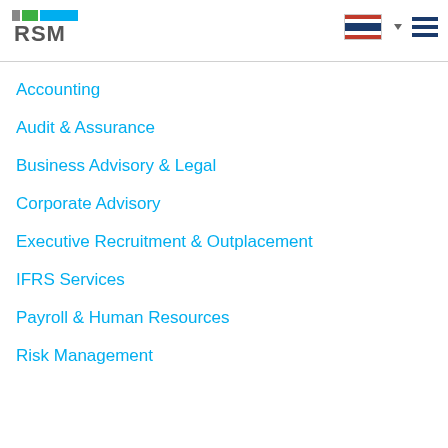RSM
Accounting
Audit & Assurance
Business Advisory & Legal
Corporate Advisory
Executive Recruitment & Outplacement
IFRS Services
Payroll & Human Resources
Risk Management